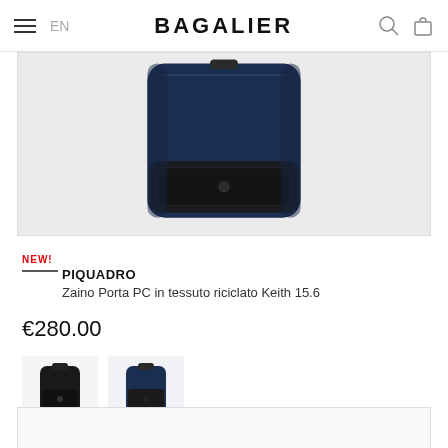BAGALIER - EN
[Figure (photo): Close-up product photo of a dark navy blue backpack with black leather bottom panel, shown from the front on a light grey background]
NEW!
PIQUADRO
Zaino Porta PC in tessuto riciclato Keith 15.6
€280.00
[Figure (photo): Small thumbnail of black backpack variant]
[Figure (photo): Small thumbnail of navy blue backpack variant (currently selected, with underline indicator)]
[Figure (photo): Partially visible bottom of next product card]